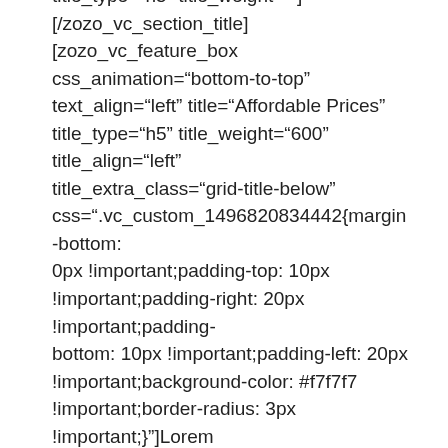title_type="h5" title_weight=""] [/zozo_vc_section_title] [zozo_vc_feature_box css_animation="bottom-to-top" text_align="left" title="Affordable Prices" title_type="h5" title_weight="600" title_align="left" title_extra_class="grid-title-below" css=".vc_custom_1496820834442{margin-bottom: 0px !important;padding-top: 10px !important;padding-right: 20px !important;padding-bottom: 10px !important;padding-left: 20px !important;background-color: #f7f7f7 !important;border-radius: 3px !important;}"]Lorem ipsum dolor sit amet, consectetur adipiscing elit. Donec bibendum blandit faucibus.[/zozo_vc_feature_box] [zozo_vc_feature_box css_animation="bottom-to-top" text_align="left" title="Great Support" title_type="h5" title_weight="600" title_align="left" title_extra_class="grid-title-below" css=".vc_custom_1496820849352{margin-bottom: